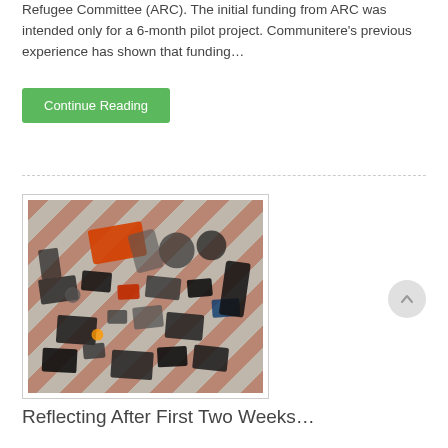Refugee Committee (ARC). The initial funding from ARC was intended only for a 6-month pilot project. Communitere's previous experience has shown that funding…
Continue Reading
[Figure (photo): A bed or sofa with orange and white diagonal striped cushions/sheets, covered with a wide variety of electronic devices and gadgets including tablets, phones, headphones, chargers, cables, controllers, and other tech items.]
Reflecting After First Two Weeks…